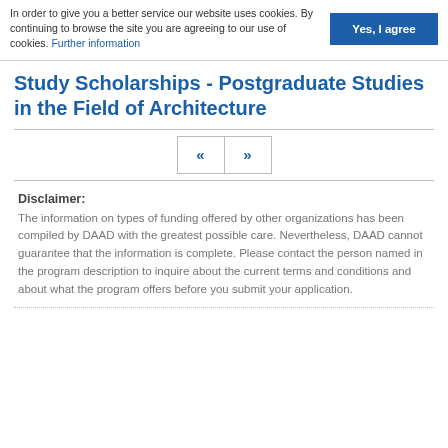In order to give you a better service our website uses cookies. By continuing to browse the site you are agreeing to our use of cookies. Further information
Yes, I agree
Study Scholarships - Postgraduate Studies in the Field of Architecture
« »
Disclaimer:
The information on types of funding offered by other organizations has been compiled by DAAD with the greatest possible care. Nevertheless, DAAD cannot guarantee that the information is complete. Please contact the person named in the program description to inquire about the current terms and conditions and about what the program offers before you submit your application.